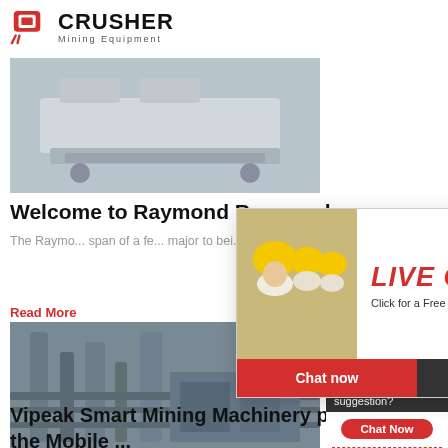CRUSHER Mining Equipment
[Figure (photo): Industrial mining machine/vibrating screen equipment, white/grey colored, in a factory setting]
Welcome to Raymond Raymond
The Raymond ... span of a fe... major to bei...
Read More
[Figure (photo): Industrial factory pipe/equipment interior, grey tones]
[Figure (screenshot): Live Chat popup overlay with workers in yellow hard hats, LIVE CHAT heading in red, 'Click for a Free Consultation' text, Chat now and Chat later buttons]
[Figure (photo): Right sidebar with 24Hrs Online banner, female customer service agent with headset, Need questions & suggestion? panel, Chat Now button, Enquiry link, limingjlmofen@sina.com email]
Vipeak Smart Mining Machinery pr... you the Mobile ...